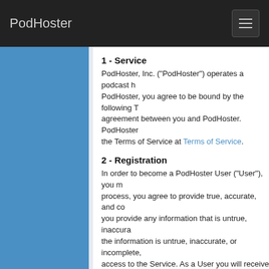PodHoster
1 - Service
PodHoster, Inc. ("PodHoster") operates a podcast hosting service. By using PodHoster, you agree to be bound by the following Terms of Service, a legal agreement between you and PodHoster. PodHoster reserves the right to update the Terms of Service at Terms of Service.
2 - Registration
In order to become a PodHoster User ("User"), you must complete the registration process, you agree to provide true, accurate, and complete information. In the event you provide any information that is untrue, inaccurate, or incomplete, or PodHoster suspects the information is untrue, inaccurate, or incomplete, PodHoster has the right to suspend access to the Service. As a User you will receive a password. You are responsible for confidentiality of your password and login name, and for all activities under your login name, including fees incurred and all purchases made by you or anyone else. PodHoster is not responsible for all fees incurred and purchases made by any unauthorized use of your membership or any other breach of security.
3 - Billing
Various services offered by PodHoster require that you pay fees with a credit card, you authorize PodHoster to do so. You must be the authorized user of the credit card. In the event that card information changes, update PodHoster of any changes to your credit card account. In the event you fail to do so, PodHoster is not responsible for any losses. Please note that refunds are not given in the event of cancellation (ex